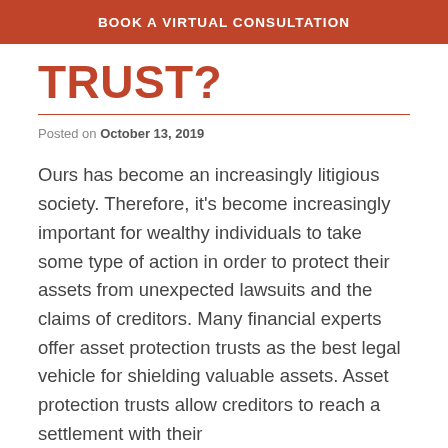BOOK A VIRTUAL CONSULTATION
TRUST?
Posted on October 13, 2019
Ours has become an increasingly litigious society. Therefore, it's become increasingly important for wealthy individuals to take some type of action in order to protect their assets from unexpected lawsuits and the claims of creditors. Many financial experts offer asset protection trusts as the best legal vehicle for shielding valuable assets. Asset protection trusts allow creditors to reach a settlement with their